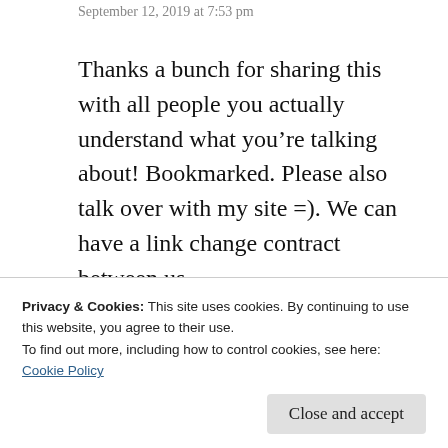September 12, 2019 at 7:53 pm
Thanks a bunch for sharing this with all people you actually understand what you’re talking about! Bookmarked. Please also talk over with my site =). We can have a link change contract between us
★ Like
Privacy & Cookies: This site uses cookies. By continuing to use this website, you agree to their use.
To find out more, including how to control cookies, see here:
Cookie Policy
Close and accept